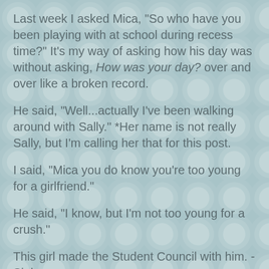Last week I asked Mica, "So who have you been playing with at school during recess time?" It's my way of asking how his day was without asking, How was your day? over and over like a broken record.
He said, "Well...actually I've been walking around with Sally." *Her name is not really Sally, but I'm calling her that for this post.
I said, "Mica you do know you're too young for a girlfriend."
He said, "I know, but I'm not too young for a crush."
This girl made the Student Council with him. -Sigh
We went to Target. I was looking for the toothpaste I wanted. Mica said, "Mom Sally and I have the same deodorant. Here it is."